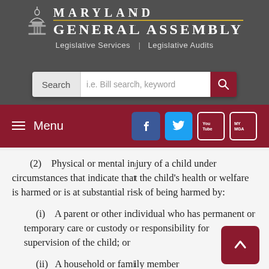[Figure (logo): Maryland General Assembly header with capitol building icon, MARYLAND GENERAL ASSEMBLY text, Legislative Services | Legislative Audits links, and search bar]
[Figure (screenshot): Navigation menu bar with hamburger Menu icon and social media icons: Facebook, Twitter, YouTube, MyMGA]
(2)   Physical or mental injury of a child under circumstances that indicate that the child's health or welfare is harmed or is at substantial risk of being harmed by:
(i)   A parent or other individual who has permanent or temporary care or custody or responsibility for supervision of the child; or
(ii)   A household or family member